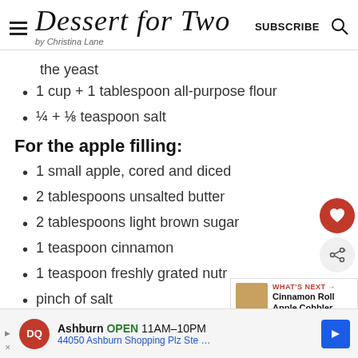Dessert for Two by Christina Lane — SUBSCRIBE
the yeast
1 cup + 1 tablespoon all-purpose flour
¼ + ⅛ teaspoon salt
For the apple filling:
1 small apple, cored and diced
2 tablespoons unsalted butter
2 tablespoons light brown sugar
1 teaspoon cinnamon
1 teaspoon freshly grated nutr…
pinch of salt
1 tablespoon heavy cream
WHAT'S NEXT → Cinnamon Roll Apple Cobbler
Ashburn OPEN 11AM–10PM 44050 Ashburn Shopping Plz Ste …